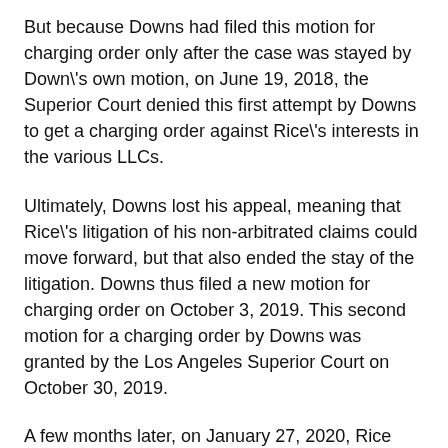But because Downs had filed this motion for charging order only after the case was stayed by Down's own motion, on June 19, 2018, the Superior Court denied this first attempt by Downs to get a charging order against Rice's interests in the various LLCs.
Ultimately, Downs lost his appeal, meaning that Rice's litigation of his non-arbitrated claims could move forward, but that also ended the stay of the litigation. Downs thus filed a new motion for charging order on October 3, 2019. This second motion for a charging order by Downs was granted by the Los Angeles Superior Court on October 30, 2019.
A few months later, on January 27, 2020, Rice filed for bankruptcy and in his schedules disclosed that Triton has paid the law firm of Glaser Weil, et al., the amount of $450,000 for its work in representing Rice in the litigation against Downs. Just a few months later, on April 14, 2020,